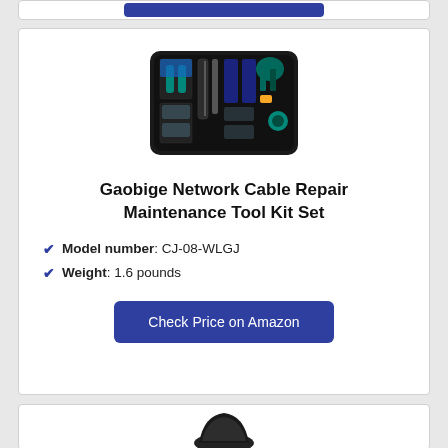[Figure (photo): A black zip-up tool kit case opened flat showing network cable repair tools including crimpers, strippers, cable tester, and various hand tools arranged inside with teal/green handles]
Gaobige Network Cable Repair Maintenance Tool Kit Set
Model number: CJ-08-WLGJ
Weight: 1.6 pounds
Check Price on Amazon
[Figure (photo): Partially visible black tool case or bag at the bottom of the page]